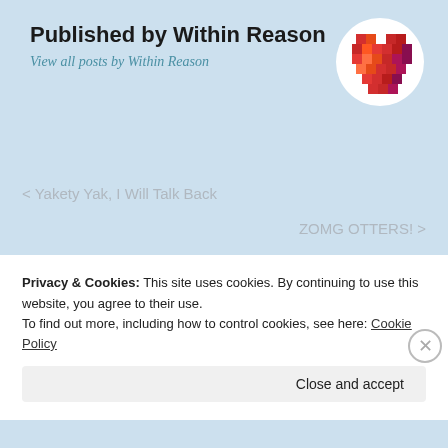Published by Within Reason
View all posts by Within Reason
[Figure (logo): Pixelated heart logo in red and orange tones on white circular background]
< Yakety Yak, I Will Talk Back
ZOMG OTTERS! >
Search …
Privacy & Cookies: This site uses cookies. By continuing to use this website, you agree to their use.
To find out more, including how to control cookies, see here: Cookie Policy
Close and accept